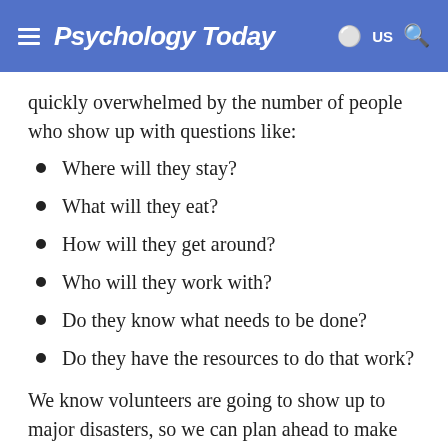Psychology Today
quickly overwhelmed by the number of people who show up with questions like:
Where will they stay?
What will they eat?
How will they get around?
Who will they work with?
Do they know what needs to be done?
Do they have the resources to do that work?
We know volunteers are going to show up to major disasters, so we can plan ahead to make sure communities are ready for them. We can